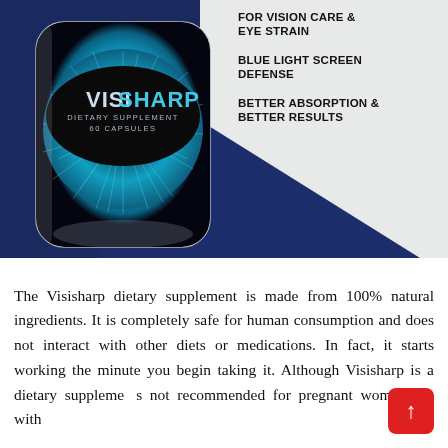[Figure (photo): Product image of VisiSharp dietary supplement bottle (60 capsules) shown against a dark navy and light grey background with a dark blue triangle shape. The bottle features an eye iris design in teal/blue tones. To the right of the bottle are three feature bullet points in bold uppercase text: FOR VISION CARE & EYE STRAIN, BLUE LIGHT SCREEN DEFENSE, BETTER ABSORPTION & BETTER RESULTS.]
The Visisharp dietary supplement is made from 100% natural ingredients. It is completely safe for human consumption and does not interact with other diets or medications. In fact, it starts working the minute you begin taking it. Although Visisharp is a dietary supplement, it is not recommended for pregnant women. As with